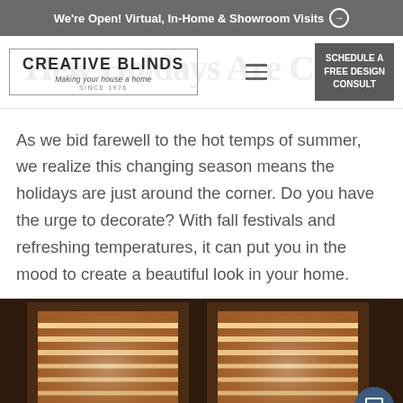We're Open! Virtual, In-Home & Showroom Visits →
[Figure (logo): Creative Blinds logo with tagline 'Making your house a home, SINCE 1976' inside a rectangular border, with hamburger menu icon and 'SCHEDULE A FREE DESIGN CONSULT' button]
As we bid farewell to the hot temps of summer, we realize this changing season means the holidays are just around the corner. Do you have the urge to decorate? With fall festivals and refreshing temperatures, it can put you in the mood to create a beautiful look in your home.
[Figure (photo): Interior photo showing windows with warm wood blinds/shades lit from behind, warm amber lighting, two side-by-side window treatments in a dark room. Chat support button overlay in bottom right.]